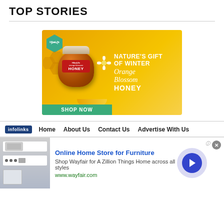TOP STORIES
[Figure (illustration): HibaLife Orange Blossom Honey advertisement banner. Shows a jar of honey with honeycomb, text reading NATURE'S GIFT OF WINTER Orange Blossom HONEY and a SHOP NOW button. Golden/orange gradient background.]
Home   About Us   Contact Us   Advertise With Us
[Figure (infographic): Infolinks advertisement: Online Home Store for Furniture - Shop Wayfair for A Zillion Things Home across all styles. www.wayfair.com. Shows appliance image on left, navigation arrow on right.]